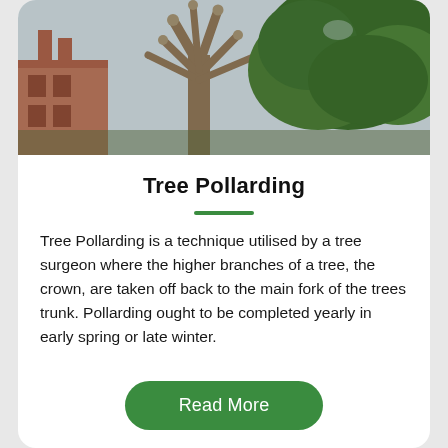[Figure (photo): Photograph of a heavily pollarded tree with thick bare branches and stumps against a sky background, with a brick building visible on the left and green leafy tree on the right.]
Tree Pollarding
Tree Pollarding is a technique utilised by a tree surgeon where the higher branches of a tree, the crown, are taken off back to the main fork of the trees trunk. Pollarding ought to be completed yearly in early spring or late winter.